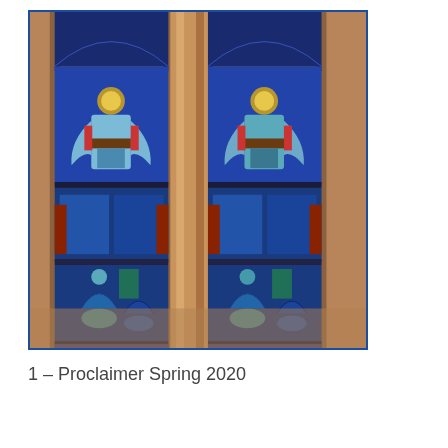[Figure (photo): Photograph of stained glass windows in a church/cathedral showing two tall Gothic lancet windows with figures of angels in blue, gold, and red tones in the upper panels, and kneeling figures in the lower panels, separated by a stone column.]
1 – Proclaimer Spring 2020